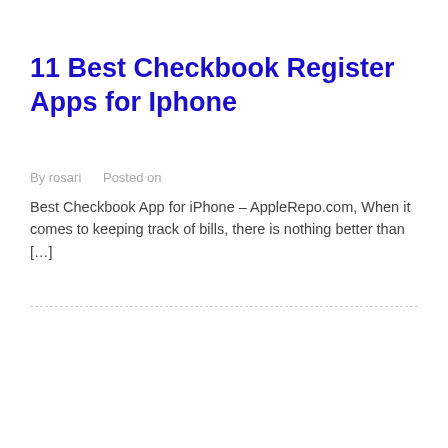11 Best Checkbook Register Apps for Iphone
By rosari      Posted on
Best Checkbook App for iPhone – AppleRepo.com, When it comes to keeping track of bills, there is nothing better than […]